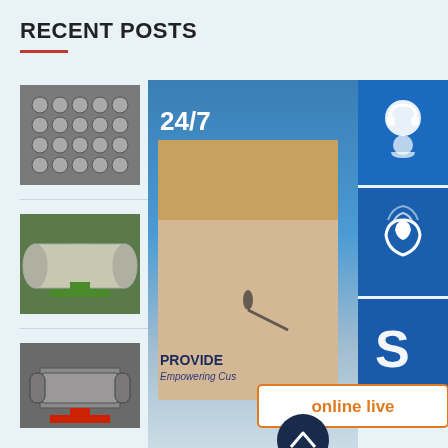RECENT POSTS
[Figure (photo): Industrial tube heat exchanger with multiple tubes visible from end view]
ASTM A350 LF1 LF2 Heat Exchanger Stationary Tubesheet Flange
[Figure (photo): Small portable horizontal pressure vessel / heat exchanger in industrial facility]
Small Portable Swimming Pool Heat Systems Water Heat Exchanger For Pool
[Figure (photo): Silicon carbide shell tube heat exchanger on red platform in workshop]
Silicon Carbide Shell Tube Heat Exchanger with High Anticorrosion
[Figure (screenshot): Overlay with 24/7 customer service panel showing headset icon, phone icon, Skype icon, online live button, and photo of woman with headset. Text: PROVIDE Empowering Customers]